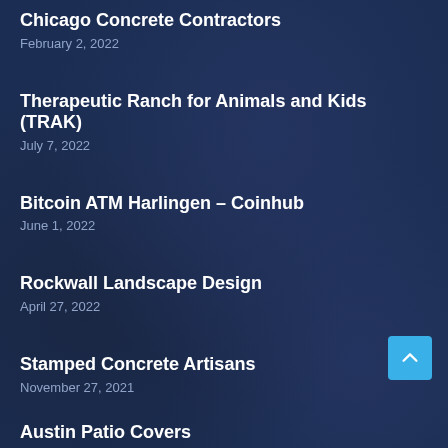Chicago Concrete Contractors
February 2, 2022
Therapeutic Ranch for Animals and Kids (TRAK)
July 7, 2022
Bitcoin ATM Harlingen – Coinhub
June 1, 2022
Rockwall Landscape Design
April 27, 2022
Stamped Concrete Artisans
November 27, 2021
Austin Patio Covers